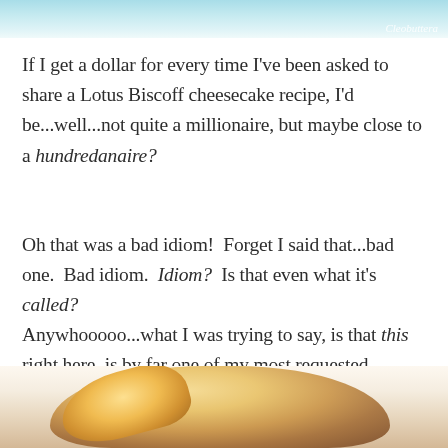[Figure (photo): Top portion of decorative/food photo with teal/blue background, partially cropped at top of page with watermark text in cursive]
If I get a dollar for every time I've been asked to share a Lotus Biscoff cheesecake recipe, I'd be...well...not quite a millionaire, but maybe close to a hundredanaire?
Oh that was a bad idiom!  Forget I said that...bad one.  Bad idiom.  Idiom?  Is that even what it's called?
Anywhooooo...what I was trying to say, is that this right here, is by far one of my most requested recipes.  Which is not hard to see why.
[Figure (photo): Bottom portion of food photo showing what appears to be cheesecake ingredients or components with warm golden/brown tones]